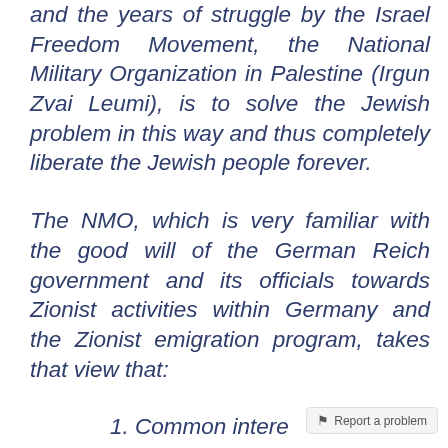and the years of struggle by the Israel Freedom Movement, the National Military Organization in Palestine (Irgun Zvai Leumi), is to solve the Jewish problem in this way and thus completely liberate the Jewish people forever.
The NMO, which is very familiar with the good will of the German Reich government and its officials towards Zionist activities within Germany and the Zionist emigration program, takes that view that:
1. Common intere...